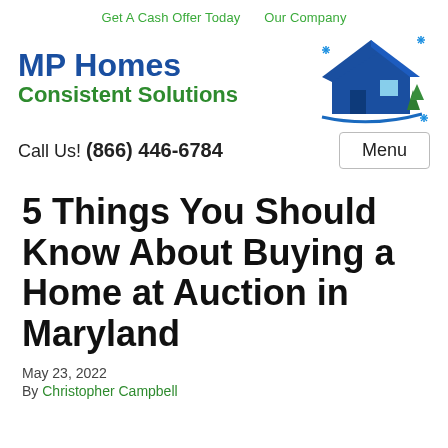Get A Cash Offer Today   Our Company
[Figure (logo): MP Homes Consistent Solutions logo with blue house icon and green subtitle text]
Call Us! (866) 446-6784   Menu
5 Things You Should Know About Buying a Home at Auction in Maryland
May 23, 2022
By Christopher Campbell